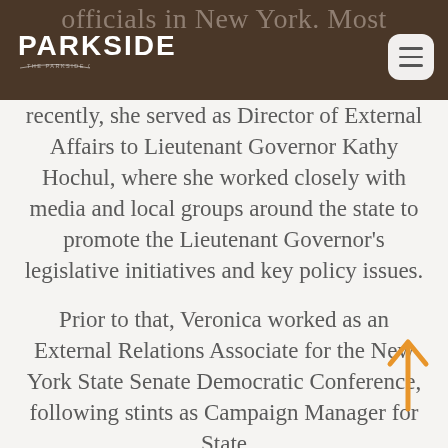PARKSIDE — THE PARKSIDE GROUP
officials in New York. Most recently, she served as Director of External Affairs to Lieutenant Governor Kathy Hochul, where she worked closely with media and local groups around the state to promote the Lieutenant Governor's legislative initiatives and key policy issues.

Prior to that, Veronica worked as an External Relations Associate for the New York State Senate Democratic Conference, following stints as Campaign Manager for State